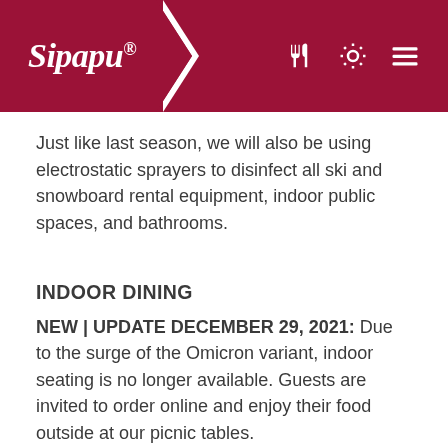Sipapu
Just like last season, we will also be using electrostatic sprayers to disinfect all ski and snowboard rental equipment, indoor public spaces, and bathrooms.
INDOOR DINING
NEW | UPDATE DECEMBER 29, 2021: Due to the surge of the Omicron variant, indoor seating is no longer available. Guests are invited to order online and enjoy their food outside at our picnic tables.
CHAIRLIFT SAFETY